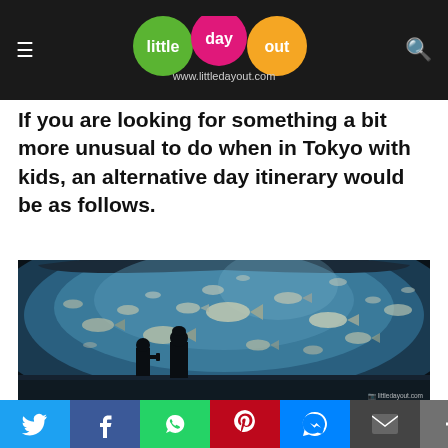little day out — www.littledayout.com
If you are looking for something a bit more unusual to do when in Tokyo with kids, an alternative day itinerary would be as follows.
[Figure (photo): Two silhouetted visitors standing before a massive curved aquarium tank filled with schooling fish at what appears to be a large aquarium. The tank curves dramatically and fish swim throughout the illuminated blue-green water. Watermark reads 'littledayout.com'.]
… a t…o Sea Life Park. This